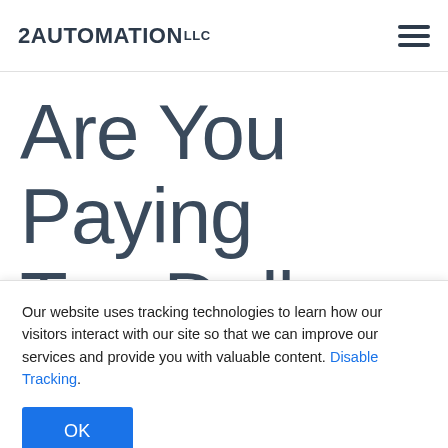2AUTOMATION LLC
Are You Paying Top Dollar for a “Pitchin…
Our website uses tracking technologies to learn how our visitors interact with our site so that we can improve our services and provide you with valuable content. Disable Tracking.
OK